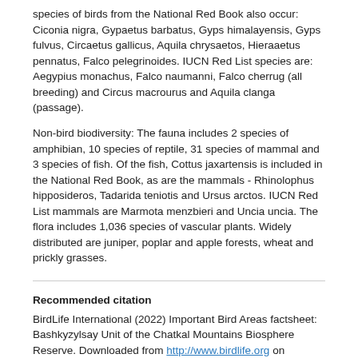species of birds from the National Red Book also occur: Ciconia nigra, Gypaetus barbatus, Gyps himalayensis, Gyps fulvus, Circaetus gallicus, Aquila chrysaetos, Hieraaetus pennatus, Falco pelegrinoides. IUCN Red List species are: Aegypius monachus, Falco naumanni, Falco cherrug (all breeding) and Circus macrourus and Aquila clanga (passage).
Non-bird biodiversity: The fauna includes 2 species of amphibian, 10 species of reptile, 31 species of mammal and 3 species of fish. Of the fish, Cottus jaxartensis is included in the National Red Book, as are the mammals - Rhinolophus hipposideros, Tadarida teniotis and Ursus arctos. IUCN Red List mammals are Marmota menzbieri and Uncia uncia. The flora includes 1,036 species of vascular plants. Widely distributed are juniper, poplar and apple forests, wheat and prickly grasses.
Recommended citation
BirdLife International (2022) Important Bird Areas factsheet: Bashkyzylsay Unit of the Chatkal Mountains Biosphere Reserve. Downloaded from http://www.birdlife.org on 31/08/2022.